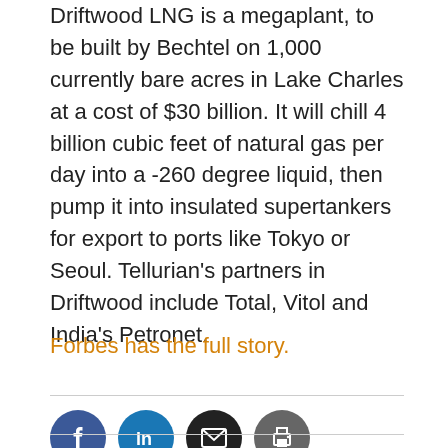Driftwood LNG is a megaplant, to be built by Bechtel on 1,000 currently bare acres in Lake Charles at a cost of $30 billion. It will chill 4 billion cubic feet of natural gas per day into a -260 degree liquid, then pump it into insulated supertankers for export to ports like Tokyo or Seoul. Tellurian's partners in Driftwood include Total, Vitol and India's Petronet.
Forbes has the full story.
[Figure (infographic): Four social sharing icon circles: Facebook (blue), LinkedIn (blue), Email (black envelope), Print (dark grey printer)]